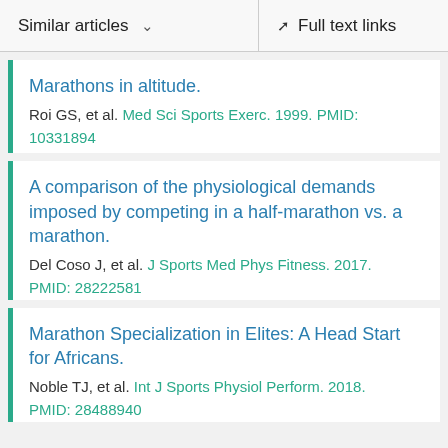Similar articles  ∨    Full text links
Marathons in altitude.
Roi GS, et al. Med Sci Sports Exerc. 1999. PMID: 10331894
A comparison of the physiological demands imposed by competing in a half-marathon vs. a marathon.
Del Coso J, et al. J Sports Med Phys Fitness. 2017. PMID: 28222581
Marathon Specialization in Elites: A Head Start for Africans.
Noble TJ, et al. Int J Sports Physiol Perform. 2018. PMID: 28488940